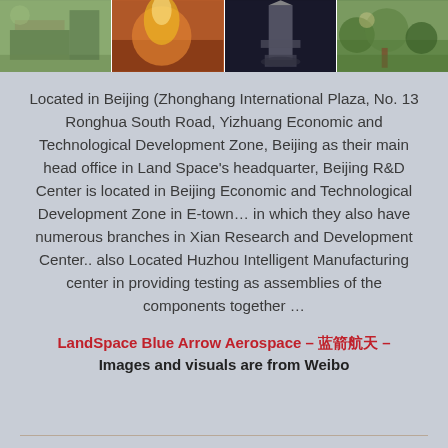[Figure (photo): A strip of four photographs showing aerospace/manufacturing related scenes including outdoor structures, fire/rocket test, a rocket or component in dark setting, and a forested/rural area.]
Located in Beijing (Zhonghang International Plaza, No. 13 Ronghua South Road, Yizhuang Economic and Technological Development Zone, Beijing as their main head office in Land Space's headquarter, Beijing R&D Center is located in Beijing Economic and Technological Development Zone in E-town… in which they also have numerous branches in Xian Research and Development Center.. also Located Huzhou Intelligent Manufacturing center in providing testing as assemblies of the components together …
LandSpace Blue Arrow Aerospace – 蓝箭航天 – Images and visuals are from Weibo